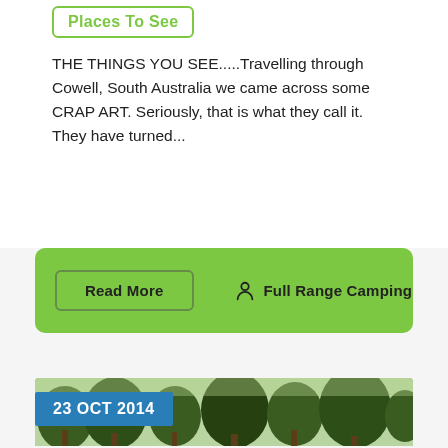Places To See
THE THINGS YOU SEE.....Travelling through Cowell, South Australia we came across some CRAP ART. Seriously, that is what they call it. They have turned...
Read More
Full Range Camping
[Figure (photo): Outdoor photo showing trees against a bright sky, with a blue date badge overlay reading '23 OCT 2014']
23 OCT 2014